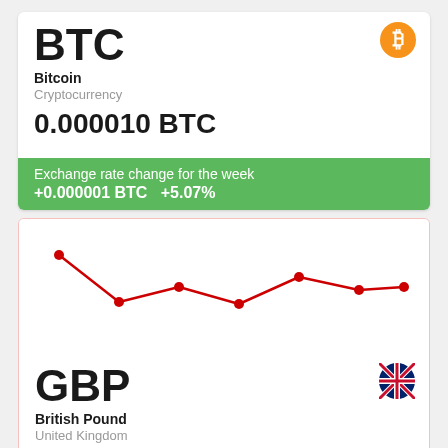BTC
Bitcoin
Cryptocurrency
0.000010 BTC
Exchange rate change for the week +0.000001 BTC   +5.07%
[Figure (line-chart): BTC/GBP exchange rate weekly]
GBP
British Pound
United Kingdom
0.17 GBP
Exchange rate change for the week